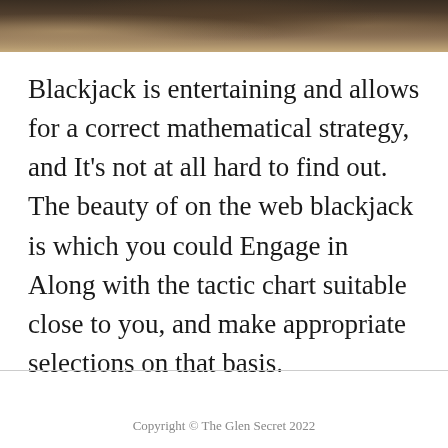[Figure (photo): Dark photograph banner at top of page showing a dimly lit scene, likely an interior with warm brown and amber tones]
Blackjack is entertaining and allows for a correct mathematical strategy, and It's not at all hard to find out. The beauty of on the web blackjack is which you could Engage in Along with the tactic chart suitable close to you, and make appropriate selections on that basis.
Copyright © The Glen Secret 2022